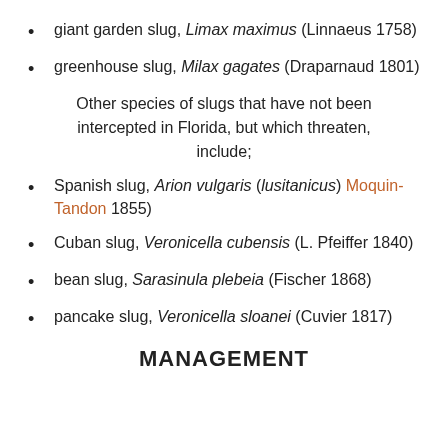giant garden slug, Limax maximus (Linnaeus 1758)
greenhouse slug, Milax gagates (Draparnaud 1801)
Other species of slugs that have not been intercepted in Florida, but which threaten, include;
Spanish slug, Arion vulgaris (lusitanicus) (Moquin-Tandon 1855)
Cuban slug, Veronicella cubensis (L. Pfeiffer 1840)
bean slug, Sarasinula plebeia (Fischer 1868)
pancake slug, Veronicella sloanei (Cuvier 1817)
MANAGEMENT